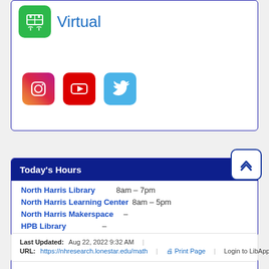[Figure (logo): Green rounded square icon with white table/people graphic, labeled Virtual in blue text]
[Figure (logo): Social media icons: Instagram (gradient), YouTube (red), Twitter (blue)]
Today's Hours
North Harris Library   8am – 7pm
North Harris Learning Center   8am – 5pm
North Harris Makerspace   –
HPB Library   –
Hours of Operation
Last Updated: Aug 22, 2022 9:32 AM | URL: https://nhresearch.lonestar.edu/math | Print Page | Login to LibApps